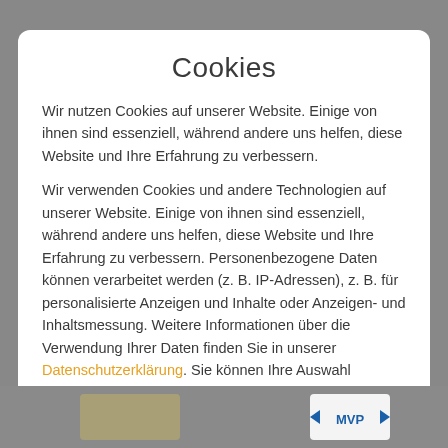Cookies
Wir nutzen Cookies auf unserer Website. Einige von ihnen sind essenziell, während andere uns helfen, diese Website und Ihre Erfahrung zu verbessern.
Wir verwenden Cookies und andere Technologien auf unserer Website. Einige von ihnen sind essenziell, während andere uns helfen, diese Website und Ihre Erfahrung zu verbessern. Personenbezogene Daten können verarbeitet werden (z. B. IP-Adressen), z. B. für personalisierte Anzeigen und Inhalte oder Anzeigen- und Inhaltsmessung. Weitere Informationen über die Verwendung Ihrer Daten finden Sie in unserer Datenschutzerklärung. Sie können Ihre Auswahl jederzeit
Essenziell
Statistiken
Marketing
Externe Medien
[Figure (screenshot): Bottom bar with logos/images partially visible behind the modal]